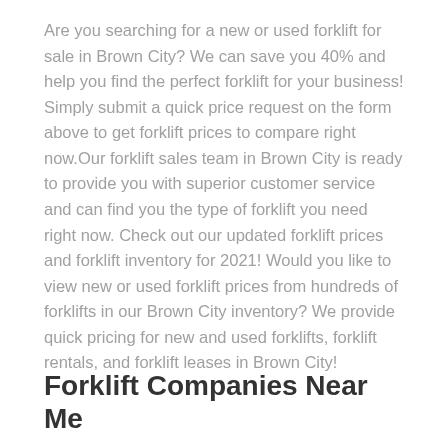Are you searching for a new or used forklift for sale in Brown City? We can save you 40% and help you find the perfect forklift for your business! Simply submit a quick price request on the form above to get forklift prices to compare right now.Our forklift sales team in Brown City is ready to provide you with superior customer service and can find you the type of forklift you need right now. Check out our updated forklift prices and forklift inventory for 2021! Would you like to view new or used forklift prices from hundreds of forklifts in our Brown City inventory? We provide quick pricing for new and used forklifts, forklift rentals, and forklift leases in Brown City!
Forklift Companies Near Me